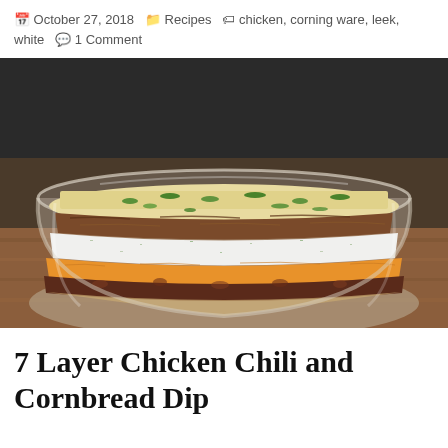October 27, 2018   Recipes   chicken, corning ware, leek, white   1 Comment
[Figure (photo): A large glass bowl on a wooden surface filled with a layered dip showing distinct layers: bottom layers of cornbread and beans, green pepper strips, shredded cheddar cheese, dark kidney beans, white herbed cream cheese/dip, shredded chicken, and topped with corn kernels and chopped green onions.]
7 Layer Chicken Chili and Cornbread Dip